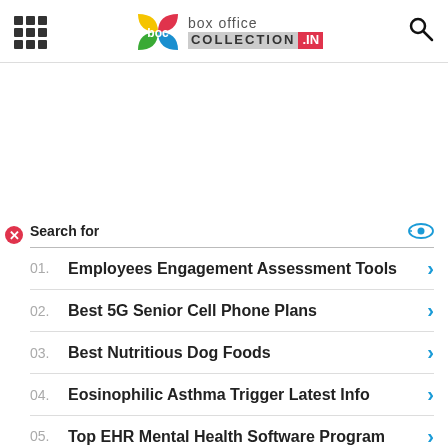box office collection .IN
Search for
01. Employees Engagement Assessment Tools
02. Best 5G Senior Cell Phone Plans
03. Best Nutritious Dog Foods
04. Eosinophilic Asthma Trigger Latest Info
05. Top EHR Mental Health Software Program
Yahoo! Search | Sponsored